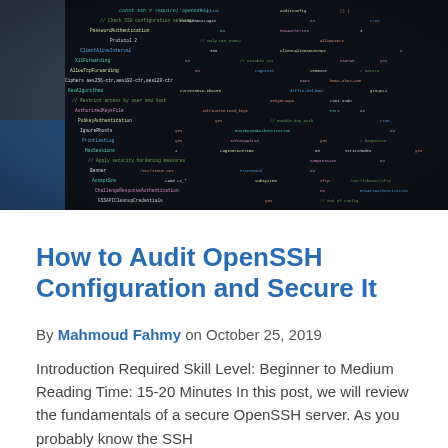[Figure (photo): Close-up photograph of a computer monitor displaying colorful code (green, orange, yellow, white text) in a dark editor environment, viewed at an angle.]
How to Audit OpenSSH Configuration and Secure It
By Mahmoud Fahmy on October 25, 2019
Introduction Required Skill Level: Beginner to Medium Reading Time: 15-20 Minutes In this post, we will review the fundamentals of a secure OpenSSH server. As you probably know the SSH